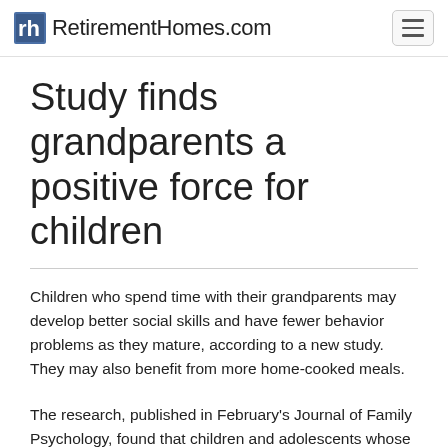RetirementHomes.com
Study finds grandparents a positive force for children
Children who spend time with their grandparents may develop better social skills and have fewer behavior problems as they mature, according to a new study. They may also benefit from more home-cooked meals.
The research, published in February's Journal of Family Psychology, found that children and adolescents whose